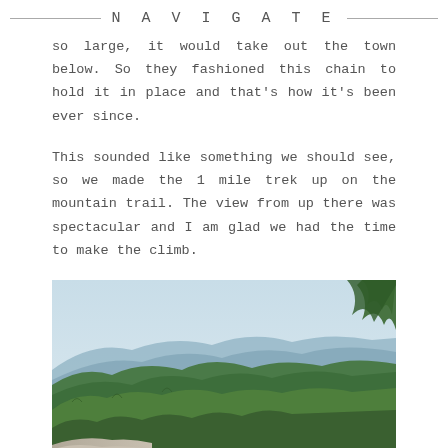NAVIGATE
so large, it would take out the town below. So they fashioned this chain to hold it in place and that’s how it’s been ever since.
This sounded like something we should see, so we made the 1 mile trek up on the mountain trail. The view from up there was spectacular and I am glad we had the time to make the climb.
[Figure (photo): Scenic mountain vista with forested green hills, misty blue ridges in the background, rocky foreground, and tree branches visible on the right.]